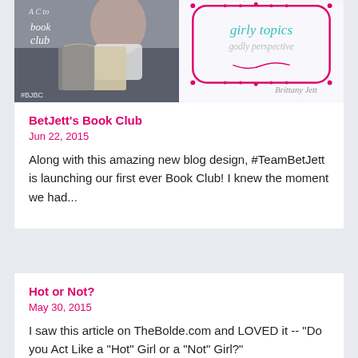[Figure (photo): Photo of a person holding an open book, with text 'book club' and '#BJBC' watermark overlay]
[Figure (logo): Girly Topics Godly Perspective logo with pink decorative border and teal/pink text, 'Brittany Jett' signature]
BetJett's Book Club
Jun 22, 2015
Along with this amazing new blog design, #TeamBetJett is launching our first ever Book Club! I knew the moment we had...
Hot or Not?
May 30, 2015
I saw this article on TheBolde.com and LOVED it -- "Do you Act Like a "Hot" Girl or a "Not" Girl?"